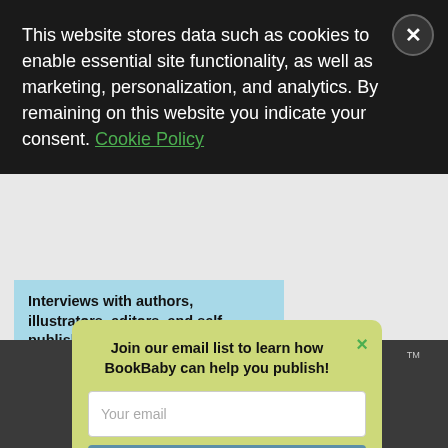This website stores data such as cookies to enable essential site functionality, as well as marketing, personalization, and analytics. By remaining on this website you indicate your consent. Cookie Policy
[Figure (screenshot): Partial blue promotional banner with bold text: Interviews with authors, illustrators, editors, and self-publishing experts]
Interviews with authors, illustrators, editors, and self-publishing experts
[Figure (screenshot): Email signup popup modal with green-yellow background. Title: Join our email list to learn how BookBaby can help you publish! Email input field with placeholder Your email. Sign Me Up button in teal/blue.]
Join our email list to learn how BookBaby can help you publish!
Your email
Sign Me Up